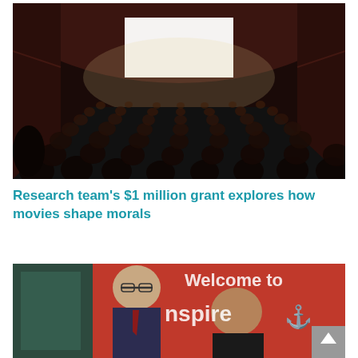[Figure (photo): Dark movie theater interior with audience seated in red chairs, viewed from the back, facing a bright white illuminated screen at the front of the ornate venue.]
Research team’s $1 million grant explores how movies shape morals
[Figure (photo): Two people standing in front of a red banner reading 'Welcome to Inspire' with logo. A man in a suit with glasses and a woman are smiling. A gray scroll-up button arrow is visible in the bottom-right corner.]